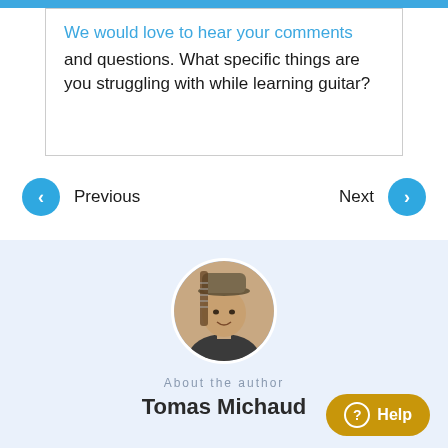We would love to hear your comments and questions. What specific things are you struggling with while learning guitar?
Previous
Next
[Figure (photo): Circular portrait photo of Tomas Michaud, a man wearing a hat with a guitar visible behind him]
About the author
Tomas Michaud
Help